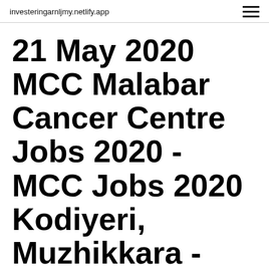investeringarnljmy.netlify.app
21 May 2020 MCC Malabar Cancer Centre Jobs 2020 - MCC Jobs 2020 Kodiyeri, Muzhikkara - MCC Rd, Illathaazha